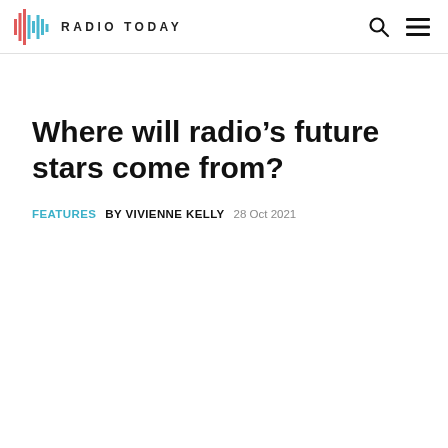RADIO TODAY
Where will radio’s future stars come from?
FEATURES  BY VIVIENNE KELLY  28 Oct 2021